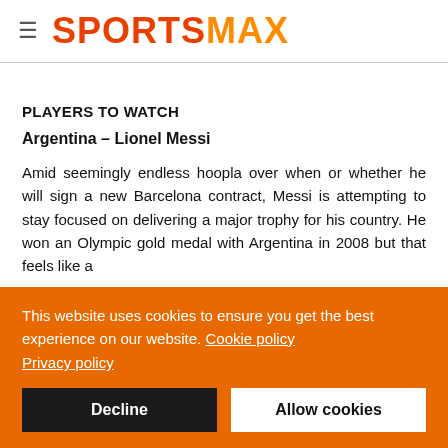SPORTSMAX
PLAYERS TO WATCH
Argentina – Lionel Messi
Amid seemingly endless hoopla over when or whether he will sign a new Barcelona contract, Messi is attempting to stay focused on delivering a major trophy for his country. He won an Olympic gold medal with Argentina in 2008 but that feels like a
This website uses cookies to ensure you get the best experience on our website. Cookie policy Privacy policy
Decline
Allow cookies